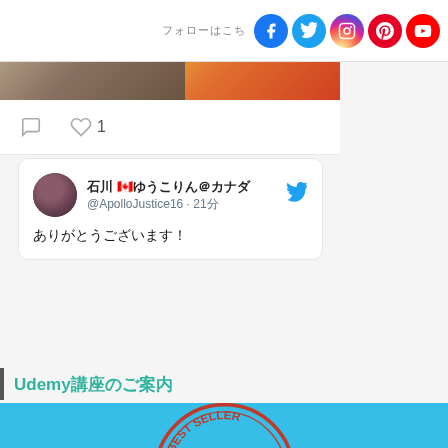follow social icons: Facebook, Twitter, Instagram, Pinterest, YouTube
[Figure (screenshot): Social media post with two images: indoor mall/store and flowers]
♡ 1
[Figure (screenshot): Tweet by @ApolloJustice16 · 21分 with Japanese text content]
Udemy講座のご案内
[Figure (illustration): Blue banner with BEST SELLER red stamp logo]